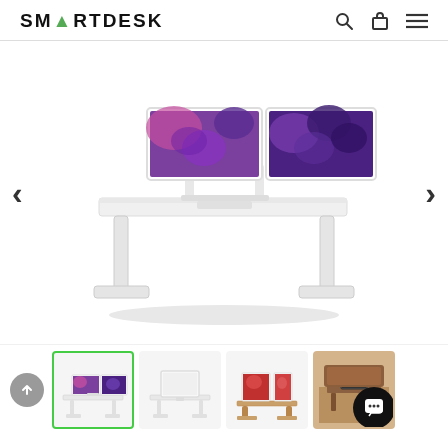SMARTDESK
[Figure (photo): White sit-stand desk with dual monitors showing purple/blue screensavers, white frame and legs, viewed from a slight angle. Left and right navigation arrows flank the image.]
[Figure (photo): Thumbnail strip with four desk variant images: 1) white desk with dual purple monitors (active/selected, green border), 2) white desk with single monitor, 3) wooden desk with red monitors, 4) desk in room setting. An up-arrow scroll button and a black chat button are also visible.]